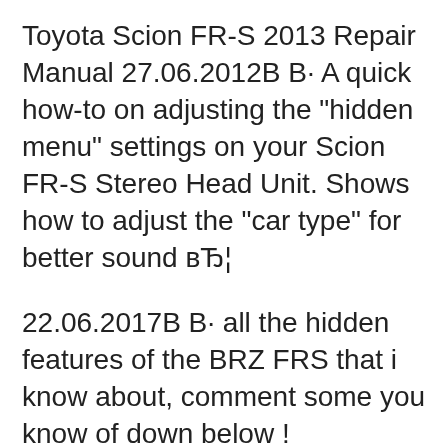Toyota Scion FR-S 2013 Repair Manual 27.06.2012В В· A quick how-to on adjusting the "hidden menu" settings on your Scion FR-S Stereo Head Unit. Shows how to adjust the "car type" for better sound вЂ¦
22.06.2017В В· all the hidden features of the BRZ FRS that i know about, comment some you know of down below ! SUBSCRIBE for more ! Follow Me Here ! https://www.instagram.c... View online Warranty & maintenance manual for Scion 2013 FR-S Automobile or simply click Download button to examine the Scion 2013 FR-S guidelines offline on your desktop or laptop computer.